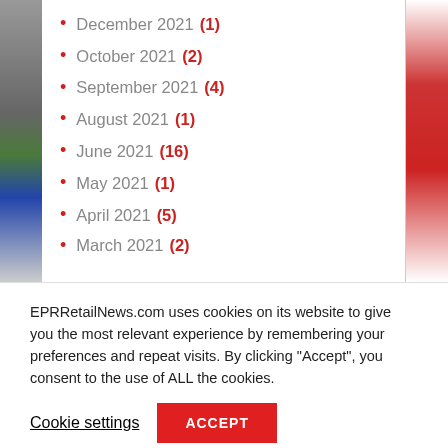December 2021 (1)
October 2021 (2)
September 2021 (4)
August 2021 (1)
June 2021 (16)
May 2021 (1)
April 2021 (5)
March 2021 (2)
EPRRetailNews.com uses cookies on its website to give you the most relevant experience by remembering your preferences and repeat visits. By clicking “Accept”, you consent to the use of ALL the cookies.
Cookie settings
ACCEPT